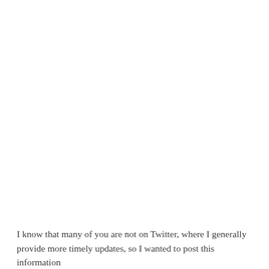I know that many of you are not on Twitter, where I generally provide more timely updates, so I wanted to post this information